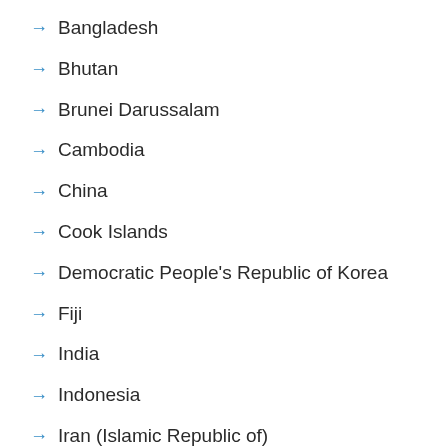Bangladesh
Bhutan
Brunei Darussalam
Cambodia
China
Cook Islands
Democratic People's Republic of Korea
Fiji
India
Indonesia
Iran (Islamic Republic of)
Japan
Kiribati